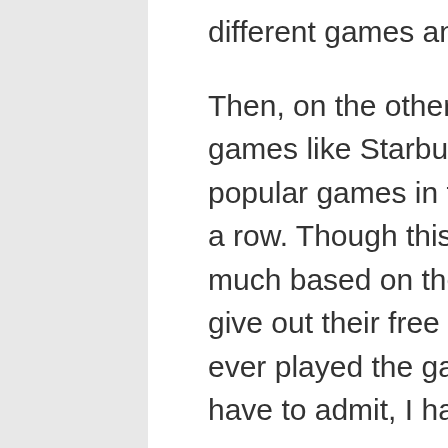different games and that´s it.
Then, on the other hand, you see some games like Starburst being one of the most popular games in the world for many years in a row. Though this game´s popularity is very much based on the fact that the casinos like to give out their free spins on it. Or have you ever played the game with your own money? I have to admit, I have not.
The real